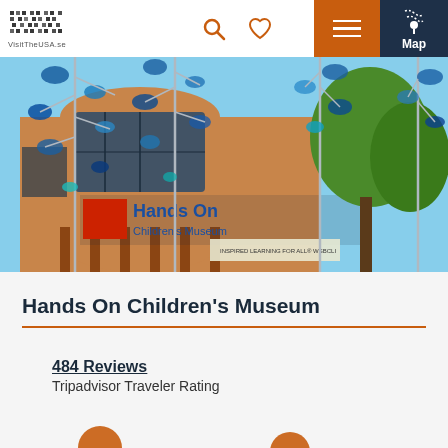VisitTheUSA.se — navigation header with logo, search, heart, menu, and map icons
[Figure (photo): Exterior photo of Hands On Children's Museum building with colorful blue glass disc sculptures on poles in front, blue sky, and green trees in background. The museum sign reads 'Hands On Children's Museum'.]
Hands On Children's Museum
484 Reviews
Tripadvisor Traveler Rating